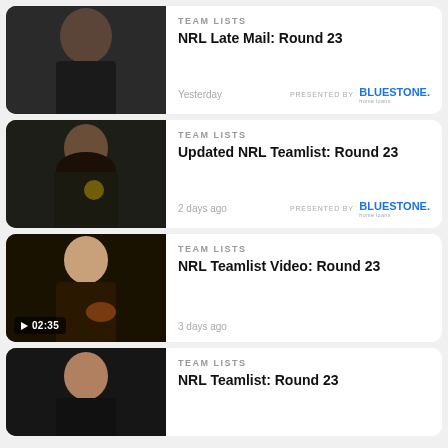[Figure (photo): NRL player in dark jersey, close-up portrait]
TEAM LISTS
NRL Late Mail: Round 23
Yesterday
PRESENTED BY Bluestone.
[Figure (photo): NRL player with long hair, Penrith Panthers jersey, close-up portrait]
TEAM LISTS
Updated NRL Teamlist: Round 23
2 days ago
PRESENTED BY Bluestone.
[Figure (photo): NRL player holding football, video thumbnail with 02:35 duration badge]
TEAM LISTS
NRL Teamlist Video: Round 23
3 days ago
[Figure (photo): NRL player, short brown hair, dark background portrait]
TEAM LISTS
NRL Teamlist: Round 23